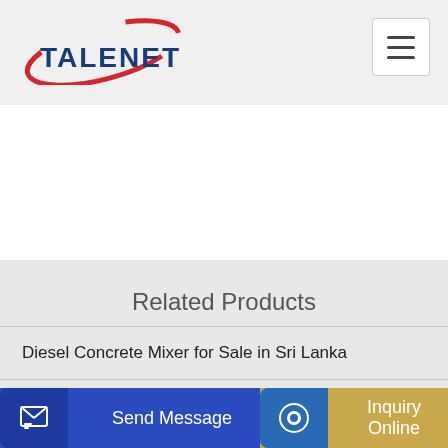[Figure (logo): Talenet logo with red arc swoosh and blue text TALENET]
[Figure (other): Hamburger menu button (three horizontal lines) in white rounded square]
Related Products
Diesel Concrete Mixer for Sale in Sri Lanka
concrete hydraulic lift mixer machine
Send Message
Inquiry Online